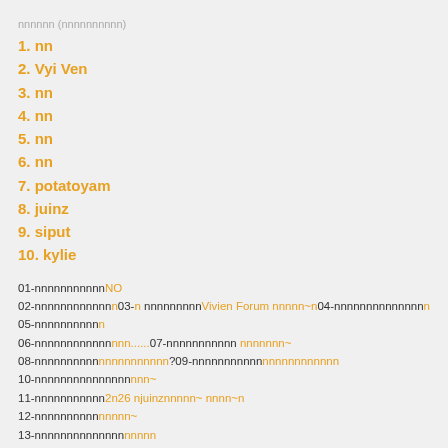nnnnnn (nnnnnnnnnn)
1. nn
2. Vyi Ven
3. nn
4. nn
5. nn
6. nn
7. potatoyam
8. juinz
9. siput
10. kylie
01-nnnnnnnnnnnNO
02-nnnnnnnnnnnnnn03-n nnnnnnnnnVivien Forum nnnnn~n04-nnnnnnnnnnnnnn
05-nnnnnnnnn
06-nnnnnnnnnnnnn......07-nnnnnnnnnnn nnnnnnn~
08-nnnnnnnnnnnnnnnnnnnnn?09-nnnnnnnnnnnnnnnnnnnnnnnn
10-nnnnnnnnnnnnnnnnn~
11-nnnnnnnnnnn2n26 njuinznnnnn~ nnnn~n
12-nnnnnnnnnnnnnn~
13-nnnnnnnnnnnnnnnnn